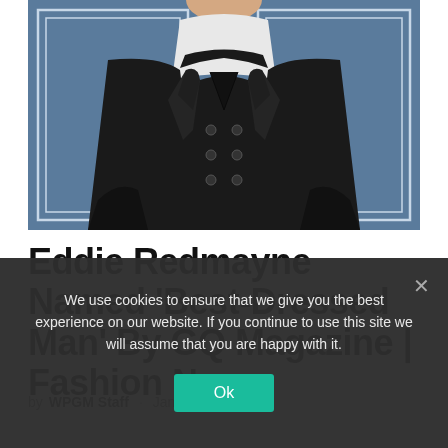[Figure (photo): A man wearing a dark double-breasted wool coat over a white turtleneck sweater, photographed against a blue wall with white molding. Only the torso and lower face/neck are visible.]
Eddie Redmayne Named 'Best-Dressed Man' By GQ Magazine | Fashion News
by WPGM Staff · January 6, 2015
We use cookies to ensure that we give you the best experience on our website. If you continue to use this site we will assume that you are happy with it.